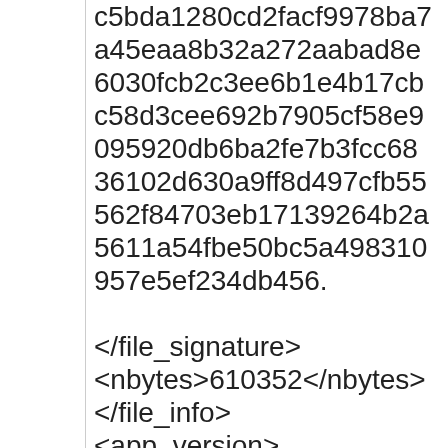c5bda1280cd2facf9978ba7a45eaa8b32a272aabad8e6030fcb2c3ee6b1e4b17cbc58d3cee692b7905cf58e9095920db6ba2fe7b3fcc6836102d630a9ff8d497cfb55562f84703eb17139264b2a5611a54fbe50bc5a498310957e5ef234db456.
</file_signature>
<nbytes>610352</nbytes>
</file_info>
<app_version>
<app_name>ithena_cnode</app_name>
<version_num>117</version_num>